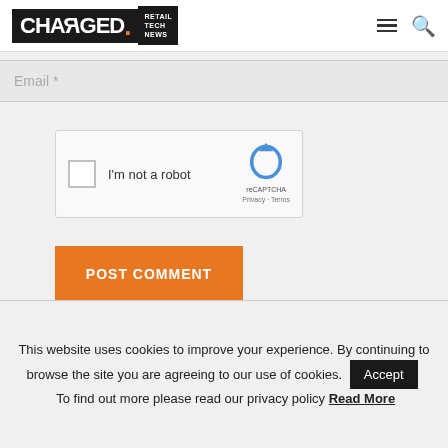CHARGED. RETAIL TECH NEWS
Email *
[Figure (screenshot): reCAPTCHA widget with checkbox labeled 'I'm not a robot' and reCAPTCHA logo with Privacy - Terms links]
POST COMMENT
This website uses cookies to improve your experience. By continuing to browse the site you are agreeing to our use of cookies. Accept To find out more please read our privacy policy Read More